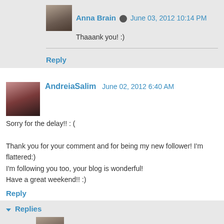Anna Brain  June 03, 2012 10:14 PM
Thaaank you! :)
Reply
AndreiaSalim  June 02, 2012 6:40 AM
Sorry for the delay!! : (

Thank you for your comment and for being my new follower! I'm flattered:)
I'm following you too, your blog is wonderful!
Have a great weekend!! :)
Reply
Replies
Anna Brain  June 03, 2012 9:31 PM
Thank you! :)